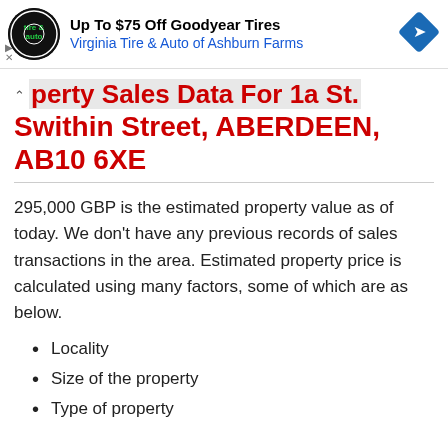[Figure (other): Advertisement banner: Virginia Tire & Auto logo (circular black), text 'Up To $75 Off Goodyear Tires' and 'Virginia Tire & Auto of Ashburn Farms', blue diamond road sign icon, ad indicators (triangle and X)]
perty Sales Data For 1a St. Swithin Street, ABERDEEN, AB10 6XE
295,000 GBP is the estimated property value as of today. We don't have any previous records of sales transactions in the area. Estimated property price is calculated using many factors, some of which are as below.
Locality
Size of the property
Type of property